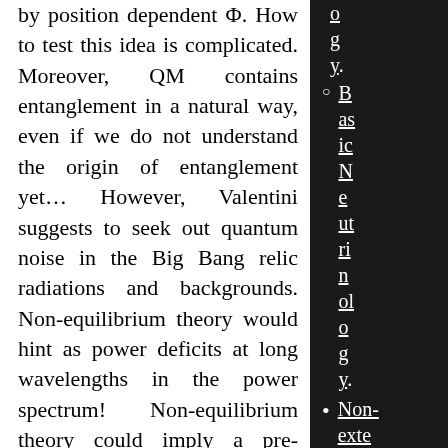by position dependent Φ. How to test this idea is complicated. Moreover, QM contains entanglement in a natural way, even if we do not understand the origin of entanglement yet… However, Valentini suggests to seek out quantum noise in the Big Bang relic radiations and backgrounds. Non-equilibrium theory would hint as power deficits at long wavelengths in the power spectrum! Non-equilibrium theory could imply a pre-inflationary phase in the very very early (planckian?) Universe. And it could imprint signals and the
Basic Neurinology.
Non-extensiv